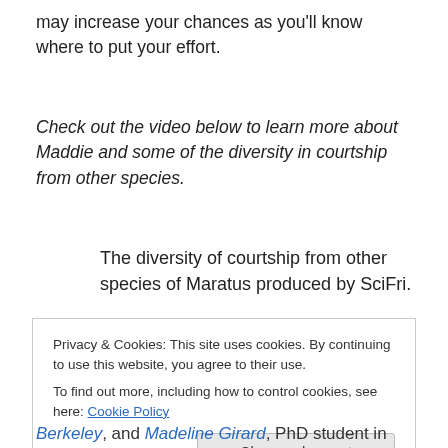may increase your chances as you'll know where to put your effort.
Check out the video below to learn more about Maddie and some of the diversity in courtship from other species.
The diversity of courtship from other species of Maratus produced by SciFri.
Privacy & Cookies: This site uses cookies. By continuing to use this website, you agree to their use.
To find out more, including how to control cookies, see here: Cookie Policy
Close and accept
Berkeley, and Madeline Girard, PhD student in